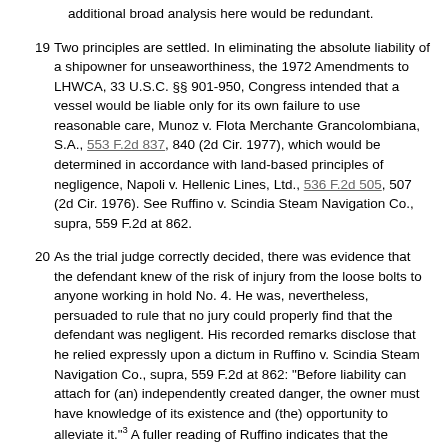additional broad analysis here would be redundant.
19  Two principles are settled. In eliminating the absolute liability of a shipowner for unseaworthiness, the 1972 Amendments to LHWCA, 33 U.S.C. §§ 901-950, Congress intended that a vessel would be liable only for its own failure to use reasonable care, Munoz v. Flota Merchante Grancolombiana, S.A., 553 F.2d 837, 840 (2d Cir. 1977), which would be determined in accordance with land-based principles of negligence, Napoli v. Hellenic Lines, Ltd., 536 F.2d 505, 507 (2d Cir. 1976). See Ruffino v. Scindia Steam Navigation Co., supra, 559 F.2d at 862.
20  As the trial judge correctly decided, there was evidence that the defendant knew of the risk of injury from the loose bolts to anyone working in hold No. 4. He was, nevertheless, persuaded to rule that no jury could properly find that the defendant was negligent. His recorded remarks disclose that he relied expressly upon a dictum in Ruffino v. Scindia Steam Navigation Co., supra, 559 F.2d at 862: "Before liability can attach for (an) independently created danger, the owner must have knowledge of its existence and (the) opportunity to alleviate it."3 A fuller reading of Ruffino indicates that the "opportunity to alleviate" phrase is merely a timeliness gloss on the